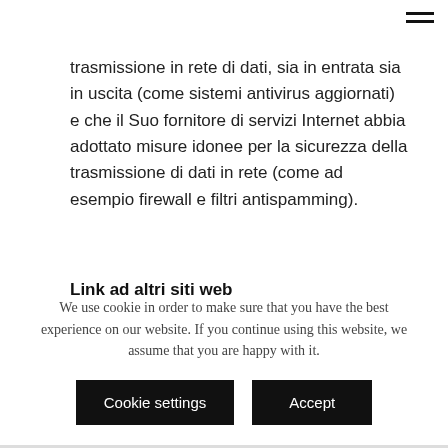trasmissione in rete di dati, sia in entrata sia in uscita (come sistemi antivirus aggiornati) e che il Suo fornitore di servizi Internet abbia adottato misure idonee per la sicurezza della trasmissione di dati in rete (come ad esempio firewall e filtri antispamming).
Link ad altri siti web
We use cookie in order to make sure that you have the best experience on our website. If you continue using this website, we assume that you are happy with it.